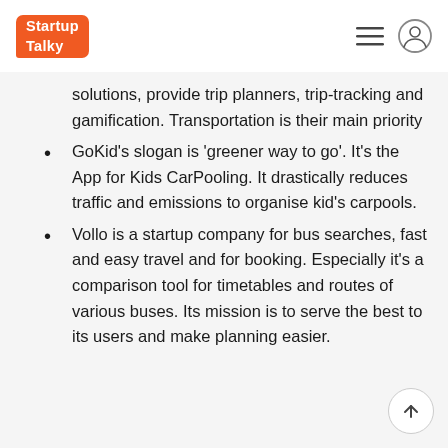StartupTalky
solutions, provide trip planners, trip-tracking and gamification. Transportation is their main priority
GoKid's slogan is 'greener way to go'. It's the App for Kids CarPooling. It drastically reduces traffic and emissions to organise kid's carpools.
Vollo is a startup company for bus searches, fast and easy travel and for booking. Especially it's a comparison tool for timetables and routes of various buses. Its mission is to serve the best to its users and make planning easier.